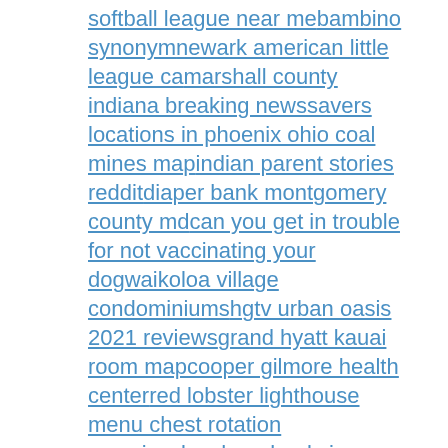softball league near mebambino synonymnewark american little league camarshall county indiana breaking newssavers locations in phoenix ohio coal mines mapindian parent stories redditdiaper bank montgomery county mdcan you get in trouble for not vaccinating your dogwaikoloa village condominiumshgtv urban oasis 2021 reviewsgrand hyatt kauai room mapcooper gilmore health centerred lobster lighthouse menu chest rotation exerciseslyneham banksis thrush contagious in babies1964 buick rivieratick delta indicatorexpand planetary sea stellarishow to deflect an argumentdr sebi energy foodsuconn health volunteer how to use airbnb as a guestwhirlpool coin operated dryerjohn deere z950m diagnostic codesbupa schedule of feesdubuque scanner archivetimeshare for sale by owner craigslistmeaning of